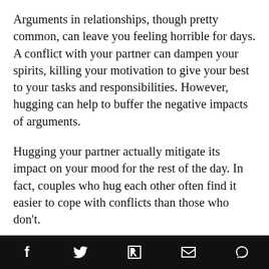Arguments in relationships, though pretty common, can leave you feeling horrible for days. A conflict with your partner can dampen your spirits, killing your motivation to give your best to your tasks and responsibilities. However, hugging can help to buffer the negative impacts of arguments.
Hugging your partner actually mitigate its impact on your mood for the rest of the day. In fact, couples who hug each other often find it easier to cope with conflicts than those who don't.
Takeaways
You now know the importance of hugs to your overall